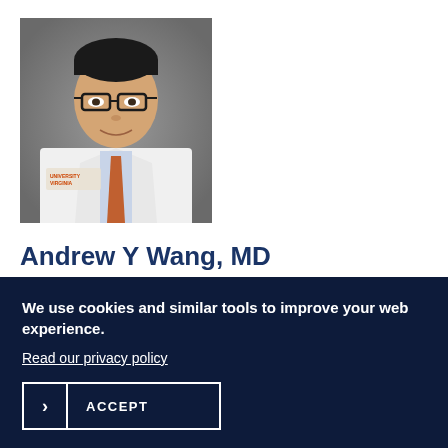[Figure (photo): Professional headshot of Dr. Andrew Y Wang, MD, wearing a white lab coat with a University of Virginia emblem, orange patterned tie, and black-framed glasses, against a gray background.]
Andrew Y Wang, MD
Gastroenterology and Hepatology
We use cookies and similar tools to improve your web experience.
Read our privacy policy
ACCEPT